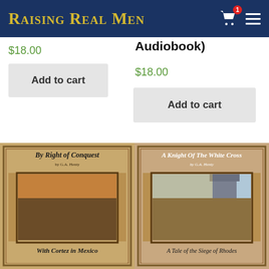Raising Real Men
$18.00
Add to cart
Audiobook)
$18.00
Add to cart
[Figure (illustration): Book cover: By Right of Conquest - With Cortez in Mexico, by G.A. Henty. Shows battle scene in ornate frame on aged parchment background.]
[Figure (illustration): Book cover: A Knight of the White Cross - A Tale of the Siege of Rhodes, by G.A. Henty. Shows knights in battle scene with castle.]